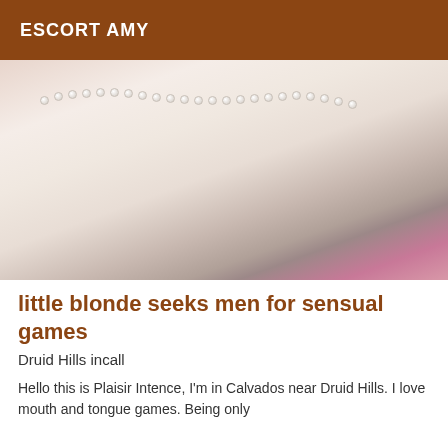ESCORT AMY
[Figure (photo): Close-up photo of a person wearing a pearl necklace, blurred intimate photo with pink and grey tones]
little blonde seeks men for sensual games
Druid Hills incall
Hello this is Plaisir Intence, I'm in Calvados near Druid Hills. I love mouth and tongue games. Being only